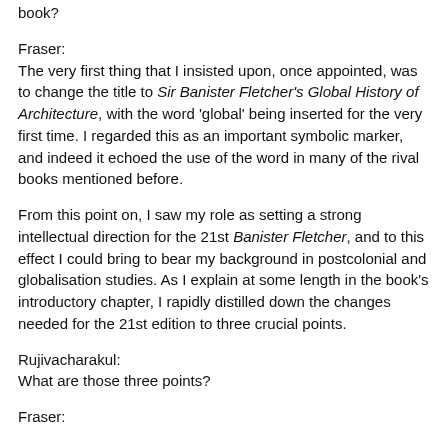book?
Fraser:
The very first thing that I insisted upon, once appointed, was to change the title to Sir Banister Fletcher's Global History of Architecture, with the word 'global' being inserted for the very first time. I regarded this as an important symbolic marker, and indeed it echoed the use of the word in many of the rival books mentioned before.
From this point on, I saw my role as setting a strong intellectual direction for the 21st Banister Fletcher, and to this effect I could bring to bear my background in postcolonial and globalisation studies. As I explain at some length in the book's introductory chapter, I rapidly distilled down the changes needed for the 21st edition to three crucial points.
Rujivacharakul:
What are those three points?
Fraser: